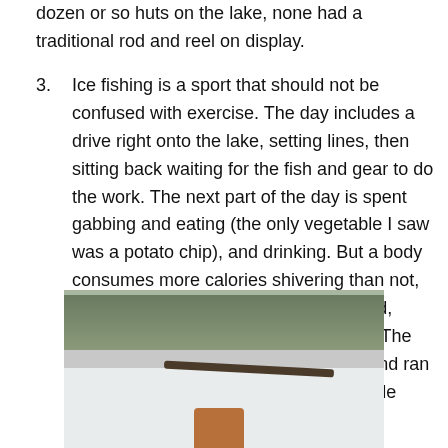dozen or so huts on the lake, none had a traditional rod and reel on display.
Ice fishing is a sport that should not be confused with exercise. The day includes a drive right onto the lake, setting lines, then sitting back waiting for the fish and gear to do the work. The next part of the day is spent gabbing and eating (the only vegetable I saw was a potato chip), and drinking. But a body consumes more calories shivering than not, so a fisherperson who is under-dressed, might burn off the snack food calories. The little kids certainly did as they skated and ran around acting like, well, little kids outside having fun.
[Figure (photo): An outdoor winter scene showing a snowy landscape with trees in the background, a dark horizontal object (possibly a plank or sled) on the snow, and what appears to be a child or animal figure at the bottom of the frame.]